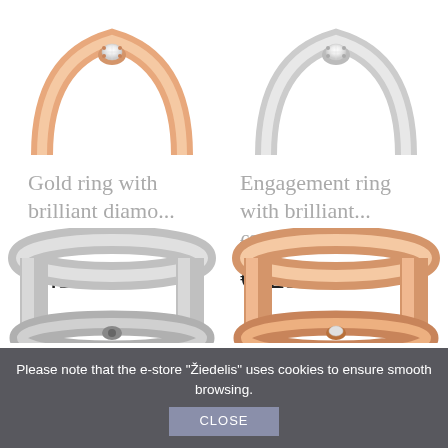[Figure (photo): Rose gold ring with brilliant diamond solitaire, top portion visible]
[Figure (photo): White gold/silver engagement ring with brilliant diamond solitaire, top portion visible]
Gold ring with brilliant diamo...
Engagement ring with brilliant...
€750.00 (strikethrough)
€875.00 (strikethrough)
€450.00
€525.00
[Figure (photo): White gold/silver ring with flower detail, bottom portion visible]
[Figure (photo): Rose gold ring with diamond, bottom portion visible]
Please note that the e-store "Žiedelis" uses cookies to ensure smooth browsing.
CLOSE